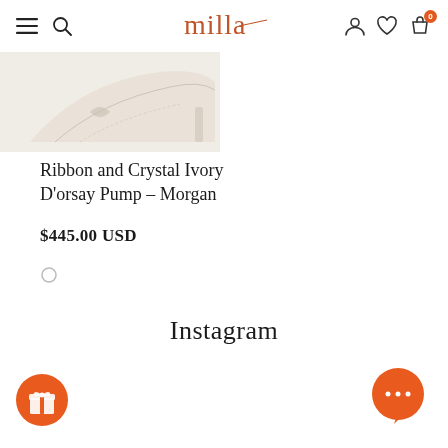milla — navigation header with hamburger menu, search, logo, user account, wishlist, and cart (0 items)
[Figure (photo): Partial view of ivory heeled shoe / d'orsay pump, shown at an angle with ribbon detail, light beige/cream coloring]
Ribbon and Crystal Ivory D'orsay Pump – Morgan
$445.00 USD
[Figure (other): Carousel dot indicator — single grey circle dot]
Instagram
[Figure (other): Orange circular rewards/gift button in bottom left corner]
[Figure (other): Orange circular chat button with ellipsis (…) in bottom right corner]